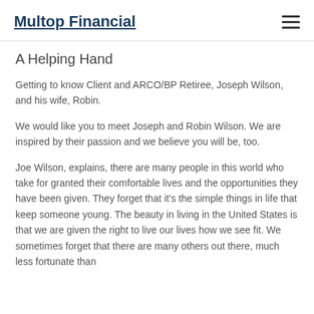Multop Financial
A Helping Hand
Getting to know Client and ARCO/BP Retiree, Joseph Wilson, and his wife, Robin.
We would like you to meet Joseph and Robin Wilson. We are inspired by their passion and we believe you will be, too.
Joe Wilson, explains, there are many people in this world who take for granted their comfortable lives and the opportunities they have been given. They forget that it's the simple things in life that keep someone young. The beauty in living in the United States is that we are given the right to live our lives how we see fit. We sometimes forget that there are many others out there, much less fortunate than